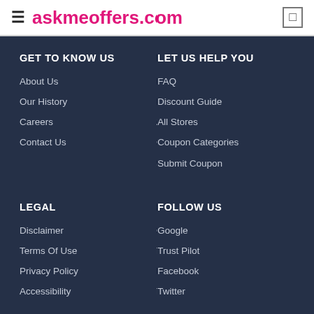askmeoffers.com
GET TO KNOW US
About Us
Our History
Careers
Contact Us
LET US HELP YOU
FAQ
Discount Guide
All Stores
Coupon Categories
Submit Coupon
LEGAL
Disclaimer
Terms Of Use
Privacy Policy
Accessibility
FOLLOW US
Google
Trust Pilot
Facebook
Twitter